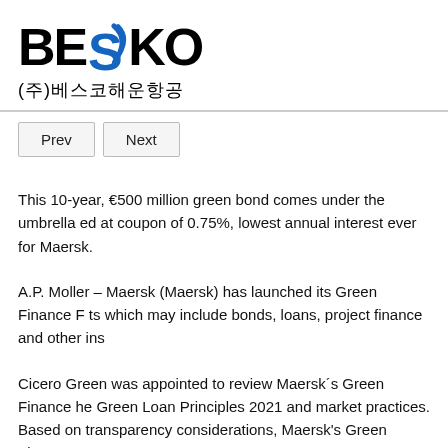[Figure (logo): BESKO logo with stylized S-check mark in blue, followed by Korean text (주)베스코해운항공]
Prev
Next
This 10-year, €500 million green bond comes under the umbrella ed at coupon of 0.75%, lowest annual interest ever for Maersk.
A.P. Moller – Maersk (Maersk) has launched its Green Finance F ts which may include bonds, loans, project finance and other ins
Cicero Green was appointed to review Maersk´s Green Finance he Green Loan Principles 2021 and market practices. Based on transparency considerations, Maersk's Green Finance Framewo
By establishing the new Green Finance Framework, Maersk inte